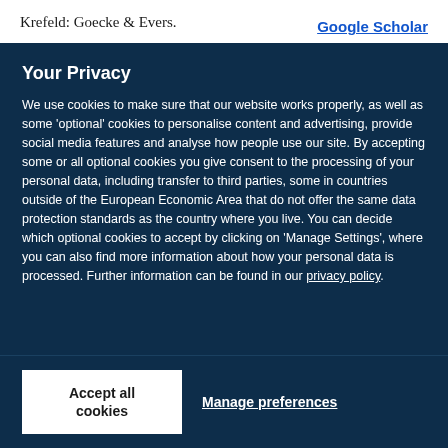Krefeld: Goecke & Evers.
Google Scholar
Your Privacy
We use cookies to make sure that our website works properly, as well as some ‘optional’ cookies to personalise content and advertising, provide social media features and analyse how people use our site. By accepting some or all optional cookies you give consent to the processing of your personal data, including transfer to third parties, some in countries outside of the European Economic Area that do not offer the same data protection standards as the country where you live. You can decide which optional cookies to accept by clicking on ‘Manage Settings’, where you can also find more information about how your personal data is processed. Further information can be found in our privacy policy.
Accept all cookies
Manage preferences